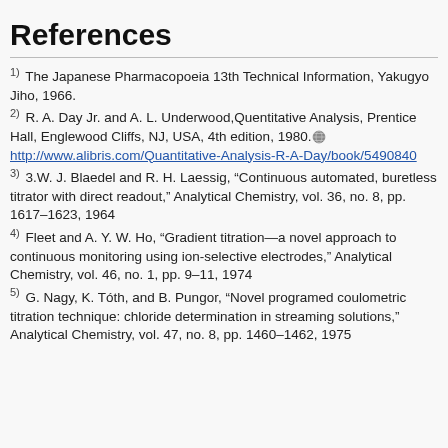References
1) The Japanese Pharmacopoeia 13th Technical Information, Yakugyo Jiho, 1966.
2) R. A. Day Jr. and A. L. Underwood,Quentitative Analysis, Prentice Hall, Englewood Cliffs, NJ, USA, 4th edition, 1980. http://www.alibris.com/Quantitative-Analysis-R-A-Day/book/5490840
3) 3.W. J. Blaedel and R. H. Laessig, “Continuous automated, buretless titrator with direct readout,” Analytical Chemistry, vol. 36, no. 8, pp. 1617–1623, 1964
4) Fleet and A. Y. W. Ho, “Gradient titration—a novel approach to continuous monitoring using ion-selective electrodes,” Analytical Chemistry, vol. 46, no. 1, pp. 9–11, 1974
5) G. Nagy, K. Tóth, and B. Pungor, “Novel programed coulometric titration technique: chloride determination in streaming solutions,” Analytical Chemistry, vol. 47, no. 8, pp. 1460–1462, 1975